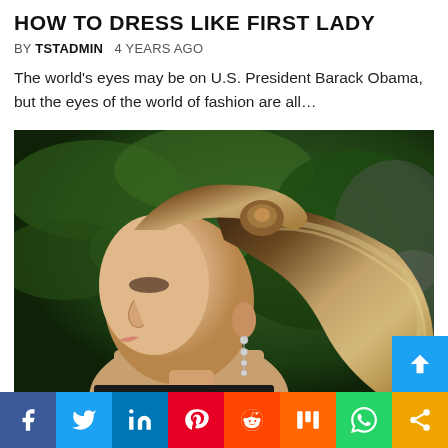HOW TO DRESS LIKE FIRST LADY
BY TSTADMIN   4 YEARS AGO
The world's eyes may be on U.S. President Barack Obama, but the eyes of the world of fashion are all...
[Figure (photo): Side profile of a woman with long blonde hair in a ponytail, wearing drop earrings, against a green leafy background]
Social share bar with icons: Facebook, Twitter, LinkedIn, Pinterest, Reddit, Mix, WhatsApp, Share